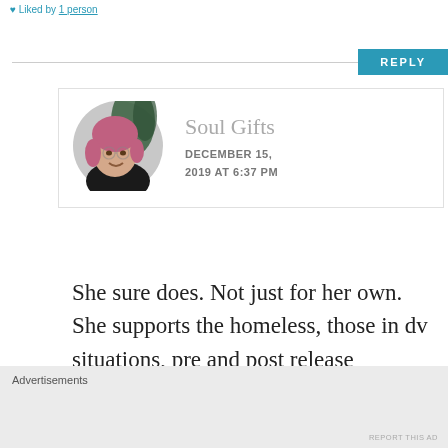Liked by 1 person
[Figure (screenshot): REPLY button in teal/blue color with a horizontal rule]
[Figure (photo): Circular profile photo of Soul Gifts commenter — woman with pink hair in black clothing]
Soul Gifts
DECEMBER 15, 2019 AT 6:37 PM
She sure does. Not just for her own. She supports the homeless, those in dv situations, pre and post release prisoners, refugees,
Advertisements
REPORT THIS AD